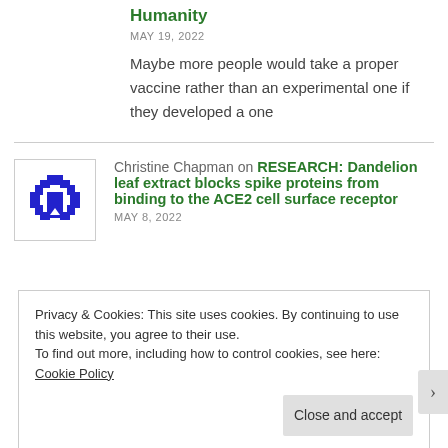Humanity
MAY 19, 2022
Maybe more people would take a proper vaccine rather than an experimental one if they developed a one
Christine Chapman on RESEARCH: Dandelion leaf extract blocks spike proteins from binding to the ACE2 cell surface receptor
MAY 8, 2022
Privacy & Cookies: This site uses cookies. By continuing to use this website, you agree to their use.
To find out more, including how to control cookies, see here: Cookie Policy